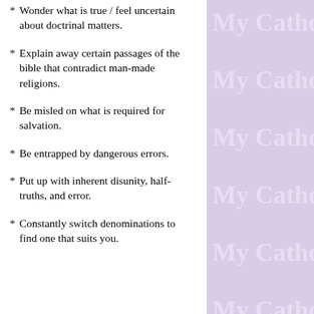* Wonder what is true / feel uncertain about doctrinal matters.
* Explain away certain passages of the bible that contradict man-made religions.
* Be misled on what is required for salvation.
* Be entrapped by dangerous errors.
* Put up with inherent disunity, half-truths, and error.
* Constantly switch denominations to find one that suits you.